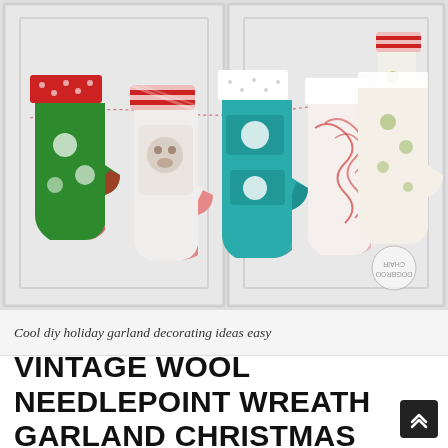[Figure (photo): Photo of colorful Christmas stockings hung on a string garland against a white paneled wall. Stockings include green with red cuff, white with stripe hat design, teal with illustrations, white/red candy cane pattern, and cream patterned. A watermark logo is visible in bottom right of the photo.]
Cool diy holiday garland decorating ideas easy
VINTAGE WOOL NEEDLEPOINT WREATH GARLAND CHRISTMAS